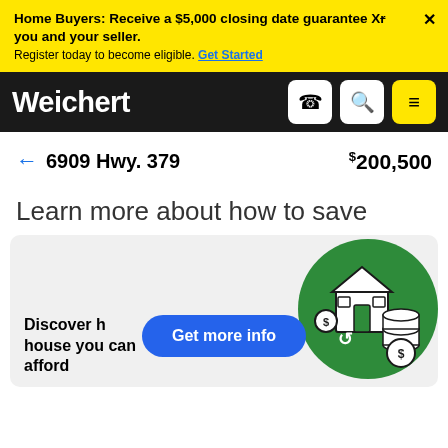Home Buyers: Receive a $5,000 closing date guarantee Xr you and your seller. Register today to become eligible. Get Started
Weichert
← 6909 Hwy. 379   $200,500
Learn more about how to save
[Figure (illustration): Green circular illustration with a house, dollar sign coins and stack of coins. Below the illustration is a blue pill-shaped button labeled 'Get more info'. Card text reads 'Discover h... house you can afford']
Discover h... house you can afford